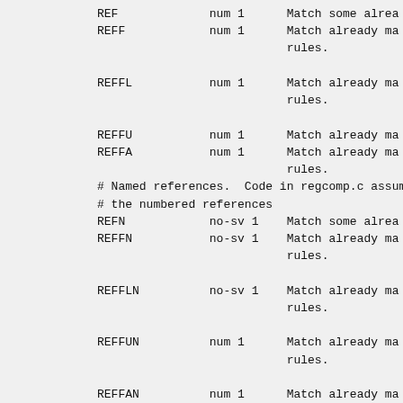| Name | Type | Description |
| --- | --- | --- |
| REF | num 1 | Match some alrea |
| REFF | num 1 | Match already ma
rules. |
| REFFL | num 1 | Match already ma
rules. |
| REFFU | num 1 | Match already ma |
| REFFA | num 1 | Match already ma
rules. |
# Named references.  Code in regcomp.c assume
# the numbered references
| Name | Type | Description |
| --- | --- | --- |
| REFN | no-sv 1 | Match some alrea |
| REFFN | no-sv 1 | Match already ma
rules. |
| REFFLN | no-sv 1 | Match already ma
rules. |
| REFFUN | num 1 | Match already ma
rules. |
| REFFAN | num 1 | Match already ma
rules. |
# Support for long RE
| Name | Type | Description |
| --- | --- | --- |
| LONGJMP | off 1 1 | Jump far away. |
| BRANCHL | off 1 1 | BRANCH with l... |